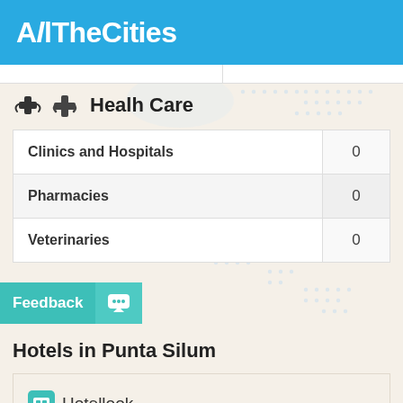AllTheCities
Healh Care
| Category | Count |
| --- | --- |
| Clinics and Hospitals | 0 |
| Pharmacies | 0 |
| Veterinaries | 0 |
Hotels in Punta Silum
[Figure (logo): Hotellook logo with icon]